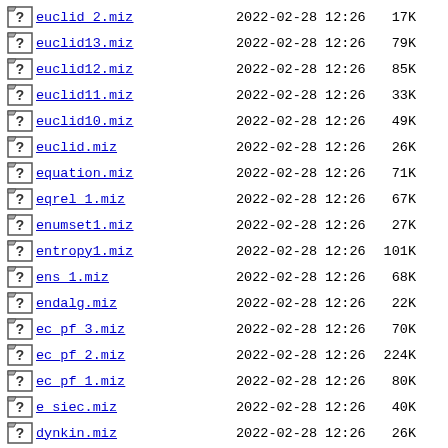euclid_2.miz  2022-02-28 12:26  17K
euclid13.miz  2022-02-28 12:26  79K
euclid12.miz  2022-02-28 12:26  85K
euclid11.miz  2022-02-28 12:26  33K
euclid10.miz  2022-02-28 12:26  49K
euclid.miz  2022-02-28 12:26  26K
equation.miz  2022-02-28 12:26  71K
eqrel_1.miz  2022-02-28 12:26  67K
enumset1.miz  2022-02-28 12:26  27K
entropy1.miz  2022-02-28 12:26  101K
ens_1.miz  2022-02-28 12:26  68K
endalg.miz  2022-02-28 12:26  22K
ec_pf_3.miz  2022-02-28 12:26  70K
ec_pf_2.miz  2022-02-28 12:26  224K
ec_pf_1.miz  2022-02-28 12:26  80K
e_siec.miz  2022-02-28 12:26  40K
dynkin.miz  2022-02-28 12:26  26K